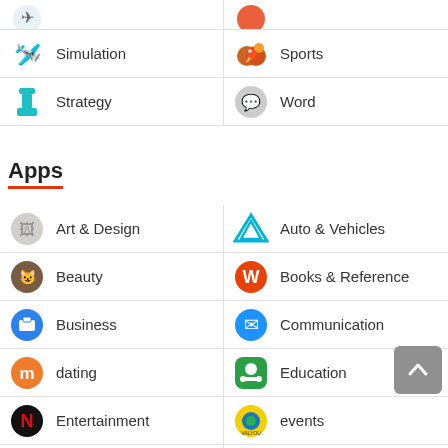Simulation
Sports
Strategy
Word
Apps
Art & Design
Auto & Vehicles
Beauty
Books & Reference
Business
Communication
dating
Education
Entertainment
events
finance
Health & Fitness
Lifestyle
Maps & Navigation